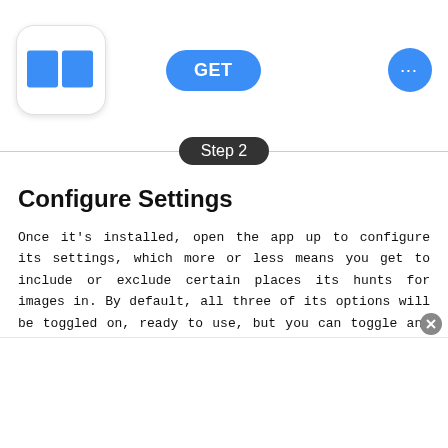[Figure (screenshot): App store listing screenshot showing app icon with blue rectangles, a blue GET button, and a blue circular more options button with three dots]
Step 2
Configure Settings
Once it's installed, open the app up to configure its settings, which more or less means you get to include or exclude certain places its hunts for images in. By default, all three of its options will be toggled on, ready to use, but you can toggle any off that you find unhelpful. As for file types, Save Images will find .jpg, .png, .gif, and other popular image formats.
"img" tags (normal linked-to images)
css background images (URL images embeddable f...